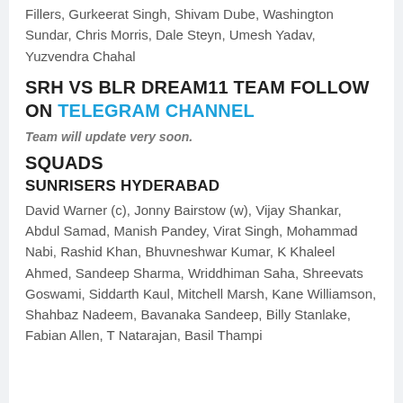Fillers, Gurkeerat Singh, Shivam Dube, Washington Sundar, Chris Morris, Dale Steyn, Umesh Yadav, Yuzvendra Chahal
SRH VS BLR DREAM11 TEAM FOLLOW ON TELEGRAM CHANNEL
Team will update very soon.
SQUADS
SUNRISERS HYDERABAD
David Warner (c), Jonny Bairstow (w), Vijay Shankar, Abdul Samad, Manish Pandey, Virat Singh, Mohammad Nabi, Rashid Khan, Bhuvneshwar Kumar, K Khaleel Ahmed, Sandeep Sharma, Wriddhiman Saha, Shreevats Goswami, Siddarth Kaul, Mitchell Marsh, Kane Williamson, Shahbaz Nadeem, Bavanaka Sandeep, Billy Stanlake, Fabian Allen, T Natarajan, Basil Thampi